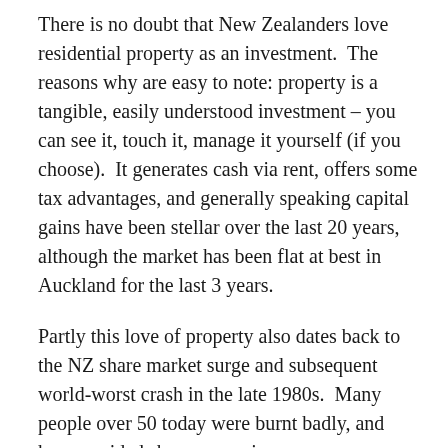There is no doubt that New Zealanders love residential property as an investment. The reasons why are easy to note: property is a tangible, easily understood investment – you can see it, touch it, manage it yourself (if you choose). It generates cash via rent, offers some tax advantages, and generally speaking capital gains have been stellar over the last 20 years, although the market has been flat at best in Auckland for the last 3 years.
Partly this love of property also dates back to the NZ share market surge and subsequent world-worst crash in the late 1980s. Many people over 50 today were burnt badly, and have avoided shares ever since.
But for investors looking for exposure to property, commercial property may be a better option – particularly by investing in listed commercial property companies that each own a significant portfolio of commercial properties. In New Zealand, this is through companies such as Kiwi Property Group, Precinct Property Trust, Stride Property, Investore, Archi...